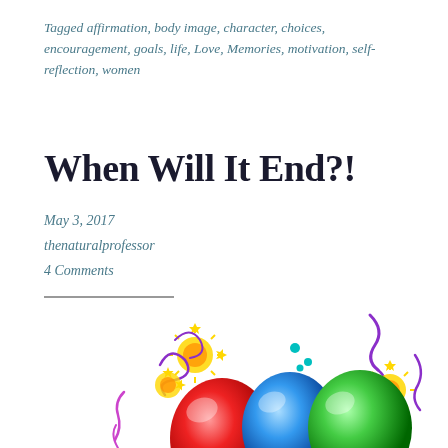Tagged affirmation, body image, character, choices, encouragement, goals, life, Love, Memories, motivation, self-reflection, women
When Will It End?!
May 3, 2017
thenaturalprofessor
4 Comments
[Figure (illustration): Colorful celebration illustration with red, blue, and green balloons, yellow and purple fireworks/sparkles, purple streamers and confetti on a white background]